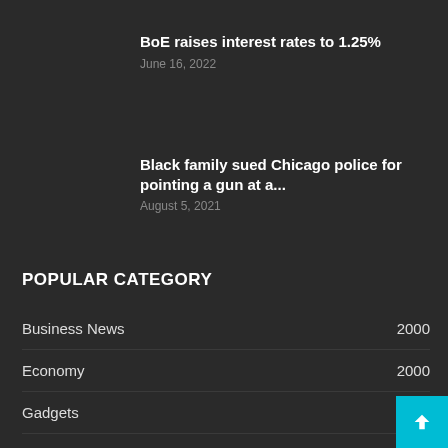BoE raises interest rates to 1.25%
June 16, 2022
Black family sued Chicago police for pointing a gun at a...
August 5, 2021
POPULAR CATEGORY
Business News  2000
Economy  2000
Gadgets  2000
German News  2000
Italian News  2000
Stock Market  2